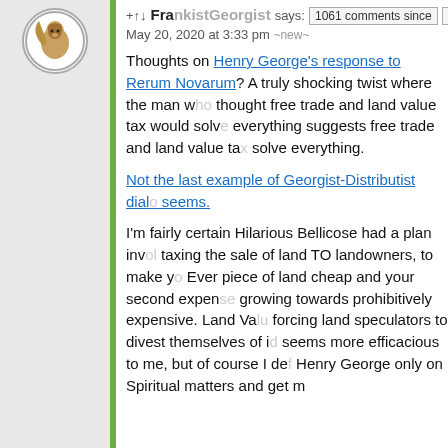FrankistGeorgist says: +↑↓ 1061 comments since 1970-01-01 00:00
May 20, 2020 at 3:33 pm ~new~
Thoughts on Henry George's response to Rerum Novarum? A truly shocking twist where the man who thought free trade and land value tax would solve everything suggests free trade and land value tax would solve everything.
Not the last example of Georgist-Distributist dialogue it seems.
I'm fairly certain Hilarious Bellicose had a plan involving taxing the sale of land TO landowners, to make your Ever piece of land cheap and your second expenditure growing towards prohibitively expensive. Land Va... forcing land speculators to divest themselves of id... seems more efficacious to me, but of course I def... Henry George only on Spiritual matters and get m...